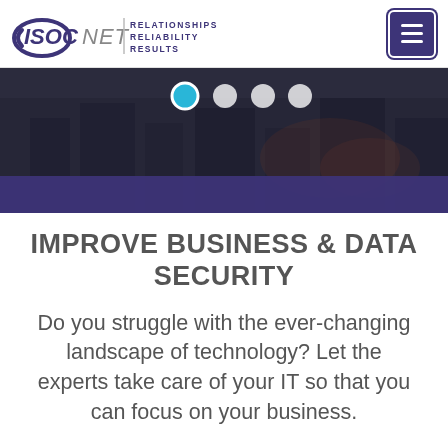[Figure (logo): ISOCNET logo with text RELATIONSHIPS RELIABILITY RESULTS]
[Figure (screenshot): Hero image with dark city background, slider dots (first active/blue, three white), and dark purple bar at bottom]
IMPROVE BUSINESS & DATA SECURITY
Do you struggle with the ever-changing landscape of technology? Let the experts take care of your IT so that you can focus on your business.